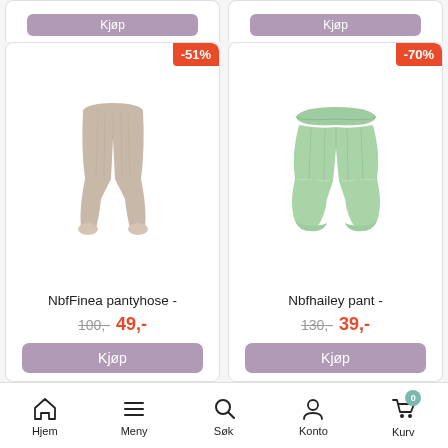[Figure (screenshot): Top portion of two product cards with purple buy buttons visible]
[Figure (photo): Beige/nude baby pantyhose product image with -51% discount badge]
NbfFinea pantyhose -
100,- 49,-
Kjøp
[Figure (photo): Light green baby pants product image with -70% discount badge]
Nbfhailey pant -
130,- 39,-
Kjøp
Hjem  Meny  Søk  Konto  Kurv